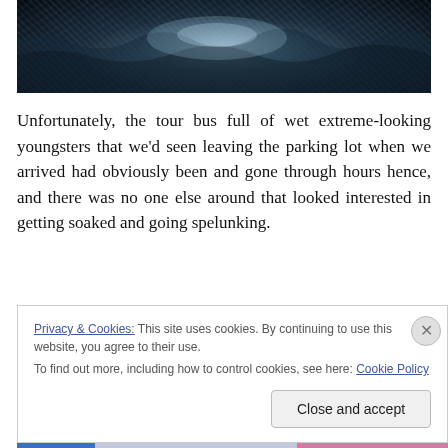[Figure (photo): Dark rocky water surface photograph, showing wet rocks with light reflecting off the surface in the center]
Unfortunately, the tour bus full of wet extreme-looking youngsters that we'd seen leaving the parking lot when we arrived had obviously been and gone through hours hence, and there was no one else around that looked interested in getting soaked and going spelunking.
Privacy & Cookies: This site uses cookies. By continuing to use this website, you agree to their use.
To find out more, including how to control cookies, see here: Cookie Policy
Close and accept